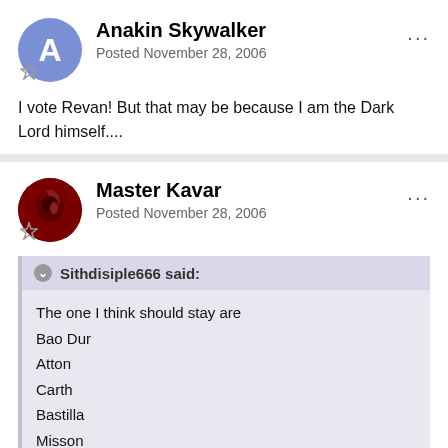Anakin Skywalker
Posted November 28, 2006
I vote Revan! But that may be because I am the Dark Lord himself....
Master Kavar
Posted November 28, 2006
Sithdisiple666 said:
The one I think should stay are
Bao Dur
Atton
Carth
Bastilla
Misson
The Handmaiden as the exile's wife
Vias